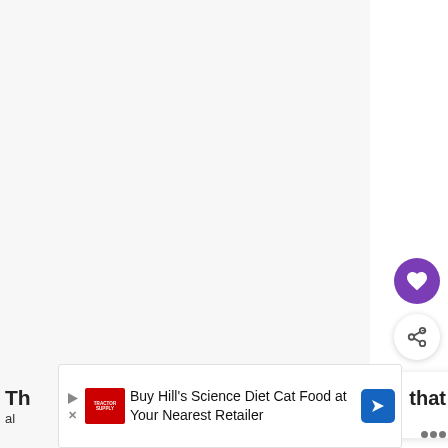[Figure (screenshot): Web page screenshot showing a mostly white/light gray content area with UI overlay elements: a purple circular heart/favorite button, a white circular share button with share icon, a 'What's Next' recommendation card showing 'Less Obvious Signs of Lab...' with a thumbnail image, and a bottom advertisement banner for Hill's Science Diet Cat Food at Tractor Supply. Partial article text is visible at the bottom edges.]
WHAT'S NEXT → Less Obvious Signs of Lab...
Buy Hill's Science Diet Cat Food at Your Nearest Retailer
Th... that... al...